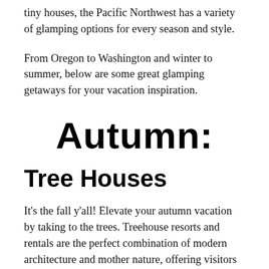tiny houses, the Pacific Northwest has a variety of glamping options for every season and style.
From Oregon to Washington and winter to summer, below are some great glamping getaways for your vacation inspiration.
Autumn:
Tree Houses
It's the fall y'all! Elevate your autumn vacation by taking to the trees. Treehouse resorts and rentals are the perfect combination of modern architecture and mother nature, offering visitors